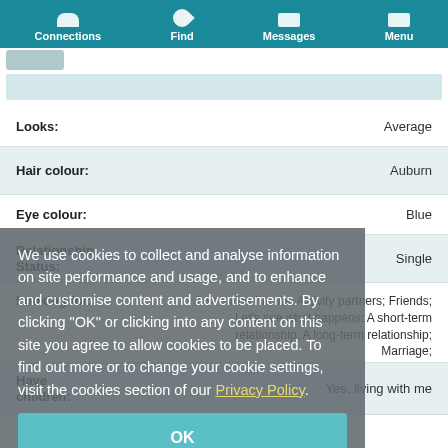Connections | Find | Messages | Menu
Looks: Average
Hair colour: Auburn
Eye colour: Blue
Relationship Status: Single
Looking for: Just online friends; Activity partners; Friends; Let's see what happens; A short-term relationship; A long-term relationship; Marriage; Something casual
Have children: Yes, living with me
We use cookies to collect and analyse information on site performance and usage, and to enhance and customise content and advertisements. By clicking "OK" or clicking into any content on this site you agree to allow cookies to be placed. To find out more or to change your cookie settings, visit the cookies section of our Privacy Policy.
OK